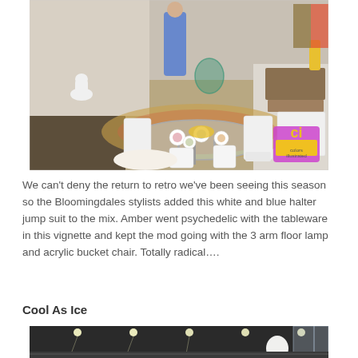[Figure (photo): Interior of a Bloomingdales store showing a round glass dining table set with psychedelic patterned tableware, surrounded by white upholstered chairs. A white dog statue, an acrylic bucket chair, and a mannequin wearing a white and blue halter jump suit are visible in the background. A colorful patterned rug is on the floor. The Colors Illustrated logo watermark appears in the lower right corner of the photo.]
We can't deny the return to retro we've been seeing this season so the Bloomingdales stylists added this white and blue halter jump suit to the mix. Amber went psychedelic with the tableware in this vignette and kept the mod going with the 3 arm floor lamp and acrylic bucket chair. Totally radical….
Cool As Ice
[Figure (photo): Bottom portion of an interior retail/showroom scene with dark ceiling and spotlights visible, a white sculptural mannequin head, and glass display cases or partitions in the background.]